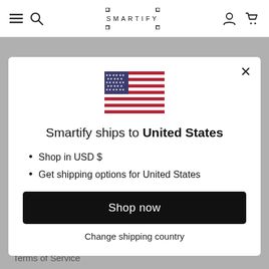SMARTIFY
[Figure (illustration): US flag icon centered in modal]
Smartify ships to United States
Shop in USD $
Get shipping options for United States
Shop now
Change shipping country
Organisations – get involved
Terms of Service